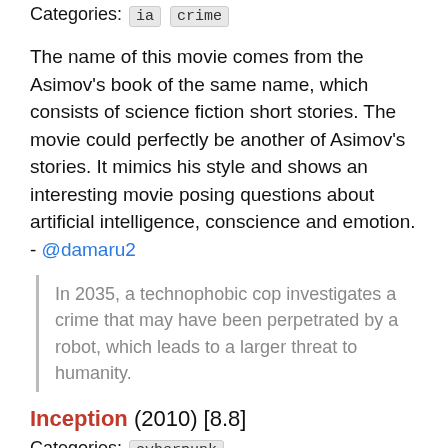Categories: ia crime
The name of this movie comes from the Asimov's book of the same name, which consists of science fiction short stories. The movie could perfectly be another of Asimov's stories. It mimics his style and shows an interesting movie posing questions about artificial intelligence, conscience and emotion. - @damaru2
In 2035, a technophobic cop investigates a crime that may have been perpetrated by a robot, which leads to a larger threat to humanity.
Inception (2010) [8.8]
Categories: cyberpunk
A major blockbuster, this film stretches the limits of recursion while maintaining its action. Well acted and beautifully shot. - @RichardLitt